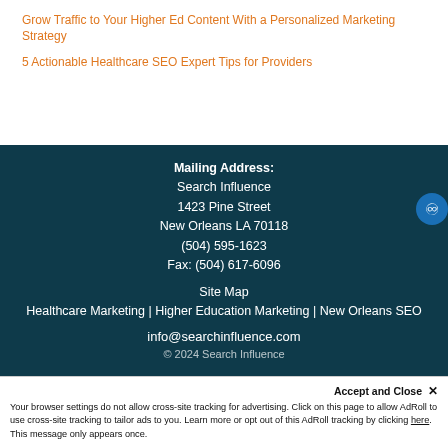Grow Traffic to Your Higher Ed Content With a Personalized Marketing Strategy
5 Actionable Healthcare SEO Expert Tips for Providers
Mailing Address:
Search Influence
1423 Pine Street
New Orleans LA 70118
(504) 595-1623
Fax: (504) 617-6096
Site Map
Healthcare Marketing | Higher Education Marketing | New Orleans SEO
info@searchinfluence.com
© 2024 Search Influence
Accept and Close ✕
Your browser settings do not allow cross-site tracking for advertising. Click on this page to allow AdRoll to use cross-site tracking to tailor ads to you. Learn more or opt out of this AdRoll tracking by clicking here. This message only appears once.